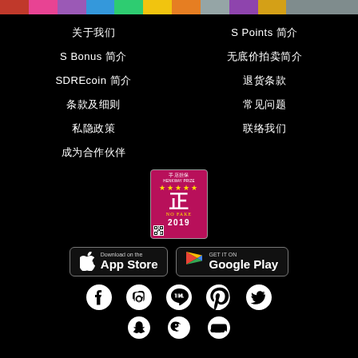[Figure (infographic): Rainbow colored horizontal bar at top of page]
关于我们
S Points 简介
S Bonus 简介
无底价拍卖简介
SDREcoin 简介
退货条款
条款及细则
常见问题
私隐政策
联络我们
成为合作伙伴
[Figure (logo): 2019 certification badge with Chinese character 正 in red circle]
[Figure (logo): Download on the App Store button]
[Figure (logo): Get it on Google Play button]
[Figure (infographic): Social media icons row 1: Facebook, Instagram, LINE, Pinterest, Twitter]
[Figure (infographic): Social media icons row 2: Snapchat, WeChat, YouTube]